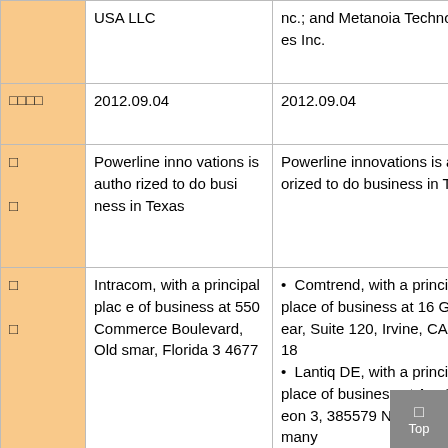|  | Column 2 | Column 3 |
| --- | --- | --- |
|  | USA LLC | nc.; and Metanoia Technologies Inc. |
| □□□□ | 2012.09.04 | 2012.09.04 |
| □
□ | Powerline innovations is authorized to do business in Texas | Powerline innovations is authorized to do business in Texas |
| □
□ | Intracom, with a principal place of business at 550 Commerce Boulevard, Oldsmar, Florida 34677 | • Comtrend, with a principal place of business at 16 Goodyear, Suite 120, Irvine, CA 92618
• Lantiq DE, with a principal place of business at Am Campeon 3, 385579 Neubiberg, Germany |